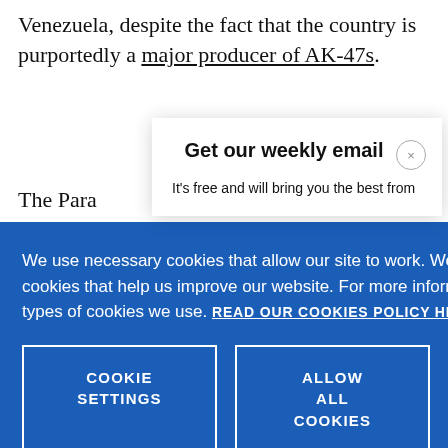Venezuela, despite the fact that the country is purportedly a major producer of AK-47s.
The Para[graph continues]... the mid-1[...]
We use necessary cookies that allow our site to work. We also set optional cookies that help us improve our website. For more information about the types of cookies we use. READ OUR COOKIES POLICY HERE
COOKIE SETTINGS
ALLOW ALL COOKIES
Get our weekly email
It's free and will bring you the best from
data.
there are